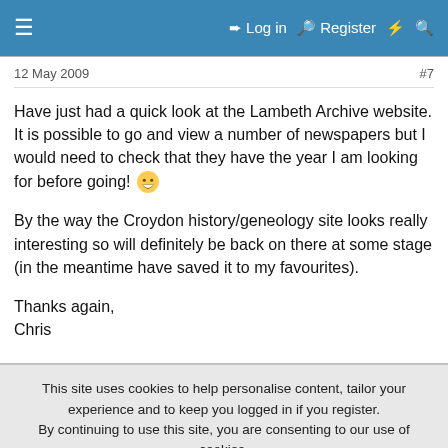≡  Log in  Register  ⚡  🔍
12 May 2009
#7
Have just had a quick look at the Lambeth Archive website. It is possible to go and view a number of newspapers but I would need to check that they have the year I am looking for before going! 🙂

By the way the Croydon history/geneology site looks really interesting so will definitely be back on there at some stage (in the meantime have saved it to my favourites).

Thanks again,
Chris
This site uses cookies to help personalise content, tailor your experience and to keep you logged in if you register.
By continuing to use this site, you are consenting to our use of cookies.